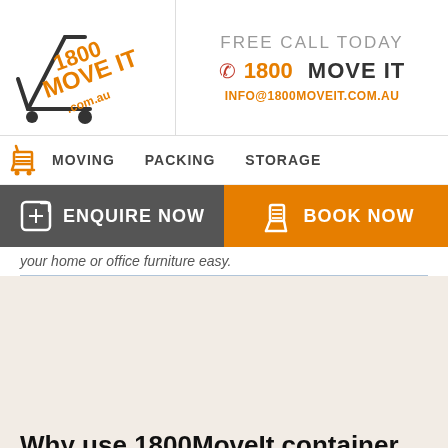[Figure (logo): 1800 Move It .com.au logo with shopping trolley]
FREE CALL TODAY
📞 1800 MOVE IT
INFO@1800MOVEIT.COM.AU
MOVING   PACKING   STORAGE
ENQUIRE NOW
BOOK NOW
your home or office furniture easy.
Why use 1800MoveIt container